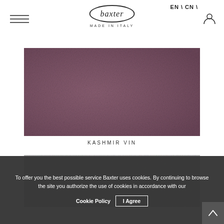EN \ CN \ — baxter MADE IN ITALY
[Figure (photo): Close-up texture of dark plum/mauve leather swatch labeled KASHMIR VIN]
KASHMIR VIN
[Figure (photo): Close-up texture of light grey leather swatch (partially visible)]
To offer you the best possible service Baxter uses cookies. By continuing to browse the site you authorize the use of cookies in accordance with our
Cookie Policy  |  I Agree